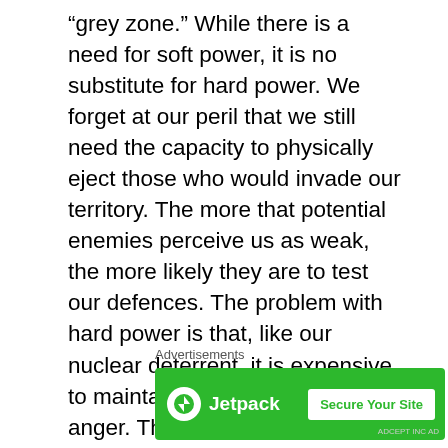“grey zone.” While there is a need for soft power, it is no substitute for hard power. We forget at our peril that we still need the capacity to physically eject those who would invade our territory. The more that potential enemies perceive us as weak, the more likely they are to test our defences. The problem with hard power is that, like our nuclear deterrent, it is expensive to maintain and seldom used in anger. This makes it a costly insurance policy. While we must spend the money allocated to defence wisely – and there is much evidence to suggest that we waste too much – the overall structure of the
Advertisements
[Figure (other): Jetpack advertisement banner with green background, Jetpack logo on left, and 'Secure Your Site' button on right]